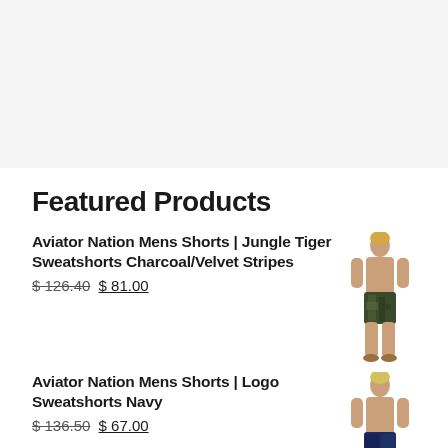Featured Products
Aviator Nation Mens Shorts | Jungle Tiger Sweatshorts Charcoal/Velvet Stripes $126.40 $81.00
[Figure (photo): Man wearing jungle tiger charcoal/velvet stripe sweatshorts, standing facing forward]
Aviator Nation Mens Shorts | Logo Sweatshorts Navy $136.50 $67.00
[Figure (photo): Man wearing navy logo sweatshorts, standing facing forward]